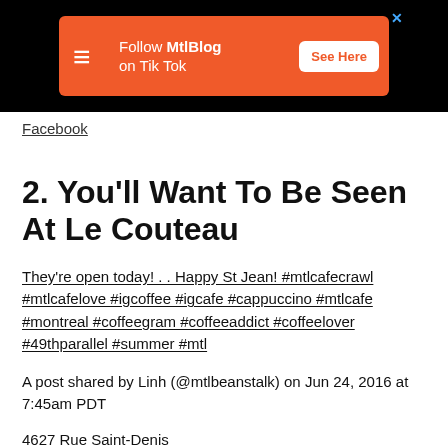[Figure (other): Advertisement banner for MtlBlog on TikTok with orange background, logo, and See Here button]
Facebook
2. You'll Want To Be Seen At Le Couteau
They're open today! . . Happy St Jean! #mtlcafecrawl #mtlcafelove #igcoffee #igcafe #cappuccino #mtlcafe #montreal #coffeegram #coffeeaddict #coffeelover #49thparallel #summer #mtl
A post shared by Linh (@mtlbeanstalk) on Jun 24, 2016 at 7:45am PDT
4627 Rue Saint-Denis